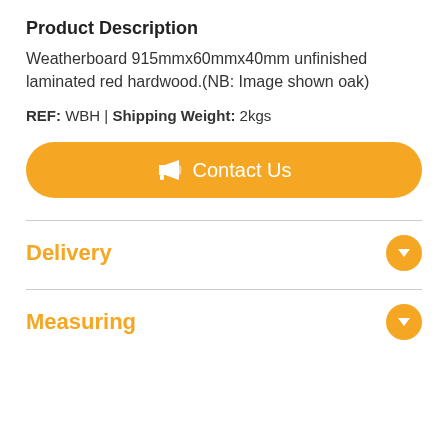Product Description
Weatherboard 915mmx60mmx40mm unfinished laminated red hardwood.(NB: Image shown oak)
REF: WBH | Shipping Weight: 2kgs
Contact Us
Delivery
Measuring